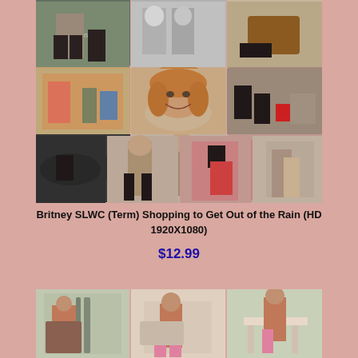[Figure (photo): Grid of video thumbnail images showing a woman shopping, close-up of face, and foot/shoe images in multiple scenes]
Britney SLWC (Term) Shopping to Get Out of the Rain (HD 1920X1080)
$12.99
[Figure (photo): Grid of video thumbnail images showing a woman with crutches in a room with furniture]